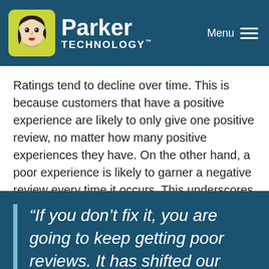[Figure (logo): Parker Technology logo with yellow-green icon featuring illustrated woman face, white text 'Parker TECHNOLOGY™' on dark teal background, and hamburger Menu icon on right]
Ratings tend to decline over time. This is because customers that have a positive experience are likely to only give one positive review, no matter how many positive experiences they have. On the other hand, a poor experience is likely to garner a negative review every time it occurs. This underscores the importance of dazzling your customers each time, as a reduced aggregate rating can be difficult to raise.
“If you don’t fix it, you are going to keep getting poor reviews. It has shifted our